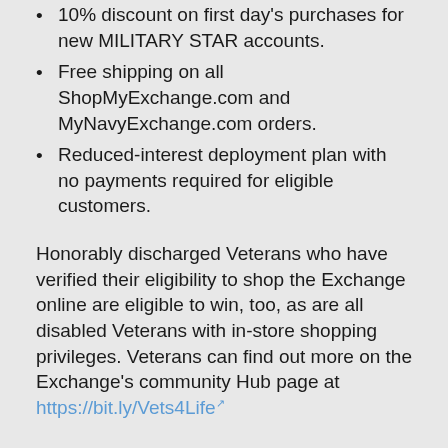10% discount on first day's purchases for new MILITARY STAR accounts.
Free shipping on all ShopMyExchange.com and MyNavyExchange.com orders.
Reduced-interest deployment plan with no payments required for eligible customers.
Honorably discharged Veterans who have verified their eligibility to shop the Exchange online are eligible to win, too, as are all disabled Veterans with in-store shopping privileges. Veterans can find out more on the Exchange's community Hub page at https://bit.ly/Vets4Life
Winners will be notified by Aug. 31.
The MILITARY STAR card is administered by the Army & Air Force Exchange Service and is accepted at all military exchanges and commissaries. For